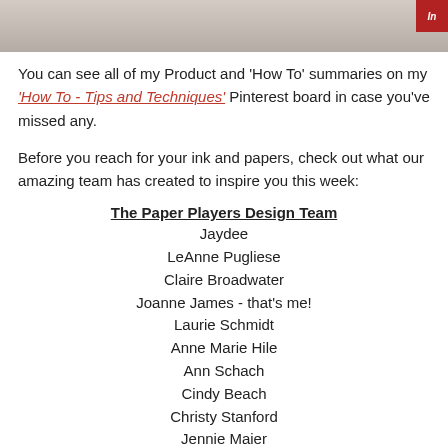[Figure (photo): Wood texture header image with a small red badge in the top right corner]
You can see all of my Product and 'How To' summaries on my 'How To - Tips and Techniques' Pinterest board in case you've missed any.
Before you reach for your ink and papers, check out what our amazing team has created to inspire you this week:
The Paper Players Design Team
Jaydee
LeAnne Pugliese
Claire Broadwater
Joanne James - that's me!
Laurie Schmidt
Anne Marie Hile
Ann Schach
Cindy Beach
Christy Stanford
Jennie Maier
Here's a quick recap of our challenge rules:
1.  Create a new paper project.